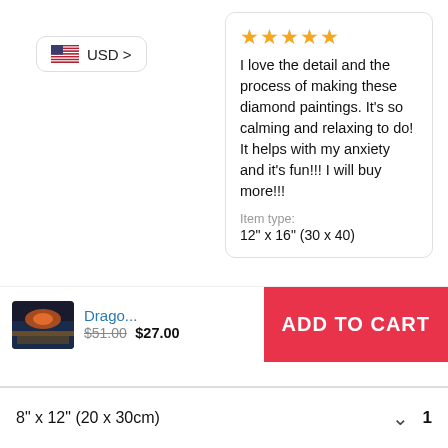[Figure (other): USD currency selector button with US flag icon and chevron]
I love the detail and the process of making these diamond paintings. It’s so calming and relaxing to do! It helps with my anxiety and it’s fun!!! I will buy more!!!
Item type:
12" x 16" (30 x 40)
[Figure (photo): Small product thumbnail showing a dragon painting]
Drago... $51.00 $27.00
ADD TO CART
8" x 12" (20 x 30cm)
1